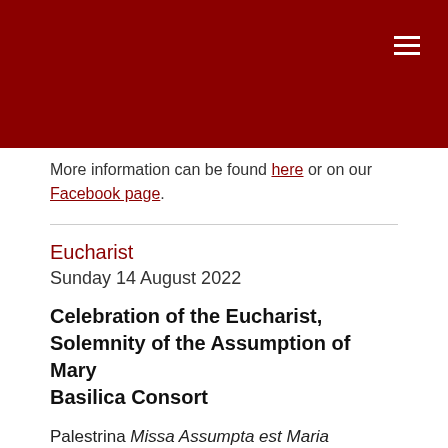More information can be found here or on our Facebook page.
Eucharist
Sunday 14 August 2022
Celebration of the Eucharist, Solemnity of the Assumption of Mary
Basilica Consort
Palestrina Missa Assumpta est Maria
Palestrina Assumpta est Maria